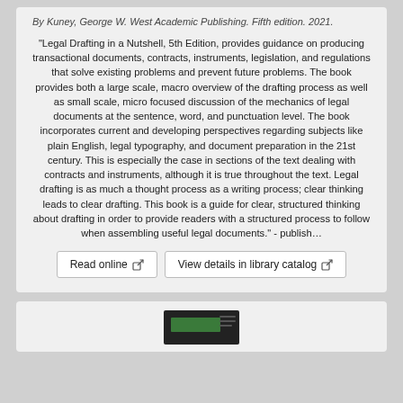By Kuney, George W. West Academic Publishing. Fifth edition. 2021.
"Legal Drafting in a Nutshell, 5th Edition, provides guidance on producing transactional documents, contracts, instruments, legislation, and regulations that solve existing problems and prevent future problems. The book provides both a large scale, macro overview of the drafting process as well as small scale, micro focused discussion of the mechanics of legal documents at the sentence, word, and punctuation level. The book incorporates current and developing perspectives regarding subjects like plain English, legal typography, and document preparation in the 21st century. This is especially the case in sections of the text dealing with contracts and instruments, although it is true throughout the text. Legal drafting is as much a thought process as a writing process; clear thinking leads to clear drafting. This book is a guide for clear, structured thinking about drafting in order to provide readers with a structured process to follow when assembling useful legal documents." - publish…
Read online
View details in library catalog
[Figure (screenshot): Thumbnail screenshot of a document or website with dark background and green header bar]